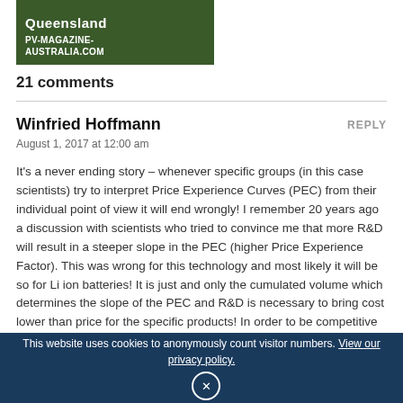[Figure (photo): Dark green background image with text 'Queensland' at top and 'PV-MAGAZINE-AUSTRALIA.COM' below]
21 comments
Winfried Hoffmann
August 1, 2017 at 12:00 am
It's a never ending story – whenever specific groups (in this case scientists) try to interpret Price Experience Curves (PEC) from their individual point of view it will end wrongly! I remember 20 years ago a discussion with scientists who tried to convince me that more R&D will result in a steeper slope in the PEC (higher Price Experience Factor). This was wrong for this technology and most likely it will be so for Li ion batteries! It is just and only the cumulated volume which determines the slope of the PEC and R&D is necessary to bring cost lower than price for the specific products! In order to be competitive as an individual company or even as an economical region this R&D
This website uses cookies to anonymously count visitor numbers. View our privacy policy. ×